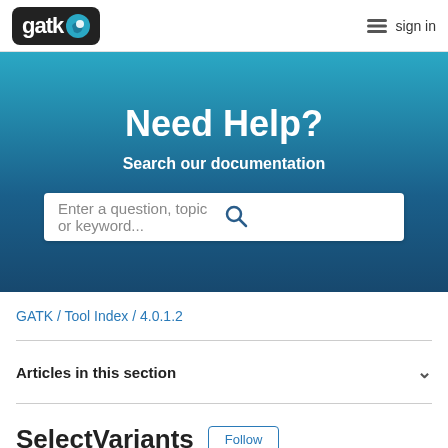gatk [logo] / sign in
Need Help?
Search our documentation
Enter a question, topic or keyword...
GATK / Tool Index / 4.0.1.2
Articles in this section
SelectVariants